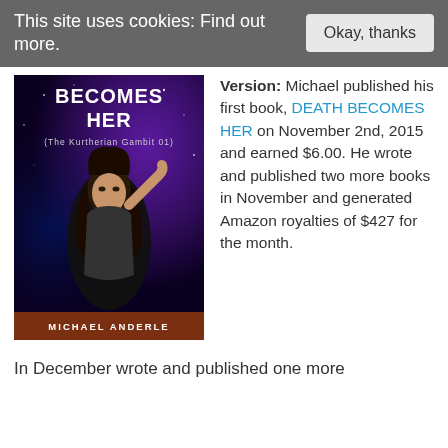This site uses cookies: Find out more.
Okay, thanks
[Figure (illustration): Book cover for 'Death Becomes Her (The Kurtherian Gambit 01)' by Michael Anderle, showing a dark-haired woman against a purple space/nebula background]
Version: Michael published his first book, DEATH BECOMES HER on November 2nd, 2015 and earned $6.00. He wrote and published two more books in November and generated Amazon royalties of $427 for the month.
In December wrote and published one more